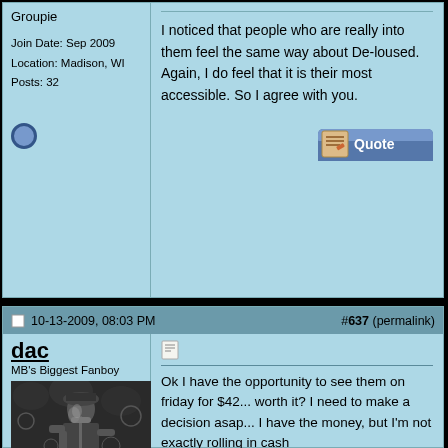Groupie
Join Date: Sep 2009
Location: Madison, WI
Posts: 32
I noticed that people who are really into them feel the same way about De-loused. Again, I do feel that it is their most accessible. So I agree with you.
10-13-2009, 08:03 PM
#637 (permalink)
dac
MB's Biggest Fanboy
[Figure (photo): Black and white photo of a musician performing, holding a microphone, with decorative background]
Ok I have the opportunity to see them on friday for $42... worth it? I need to make a decision asap... I have the money, but I'm not exactly rolling in cash